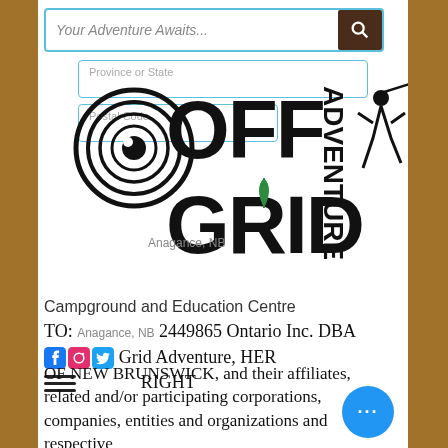Your Adventure Awaits...
[Figure (logo): Off Grid Adventure logo with spiral eye graphic, bold OFF GRID text and vertical ADVENTURE text]
Campground and Education Centre
TO: 2449865 Ontario Inc. DBA Off Grid Adventure, HER RIGHT OF NEW BRUNSWICK, and their affiliates, related and/or participating corporations, companies, entities and organizations and respective